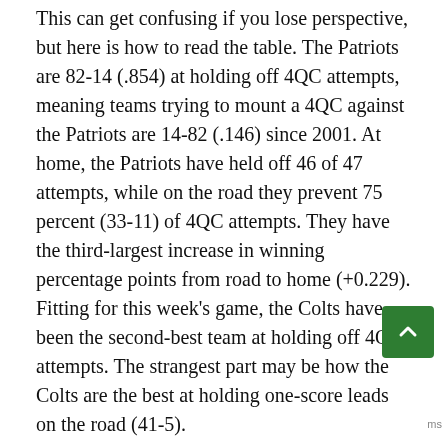This can get confusing if you lose perspective, but here is how to read the table. The Patriots are 82-14 (.854) at holding off 4QC attempts, meaning teams trying to mount a 4QC against the Patriots are 14-82 (.146) since 2001. At home, the Patriots have held off 46 of 47 attempts, while on the road they prevent 75 percent (33-11) of 4QC attempts. They have the third-largest increase in winning percentage points from road to home (+0.229). Fitting for this week's game, the Colts have been the second-best team at holding off 4QC attempts. The strangest part may be how the Colts are the best at holding one-score leads on the road (41-5).

Having a great offense/quarterback that is capable of coming back and closing games definitely helps teams like the Patriots and Colts to have great records with one-score leads. However, this is still very much a credit to the defense first and foremost. There were only nine games where the